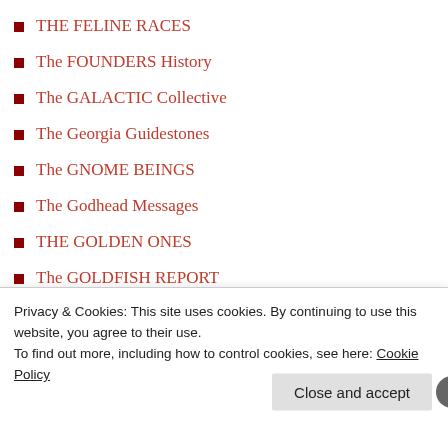THE FELINE RACES
The FOUNDERS History
The GALACTIC Collective
The Georgia Guidestones
The GNOME BEINGS
The Godhead Messages
THE GOLDEN ONES
The GOLDFISH REPORT
The GREAT WHITE LODGE
The HATHORS Masters
THE HOLY SAINTS
The Human Experiment
THE JINN
The KNIGHT'S TEMPLAR
The KNIGHTS of MALTA
The LITTLE PEOPLE
THE LYRANS
The MAZZAROTH & Story
Privacy & Cookies: This site uses cookies. By continuing to use this website, you agree to their use.
To find out more, including how to control cookies, see here: Cookie Policy
Close and accept